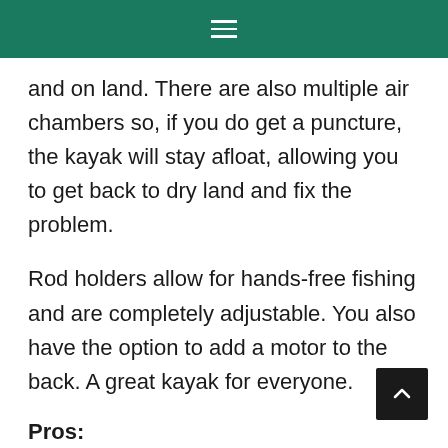≡
and on land. There are also multiple air chambers so, if you do get a puncture, the kayak will stay afloat, allowing you to get back to dry land and fix the problem.
Rod holders allow for hands-free fishing and are completely adjustable. You also have the option to add a motor to the back. A great kayak for everyone.
Pros: